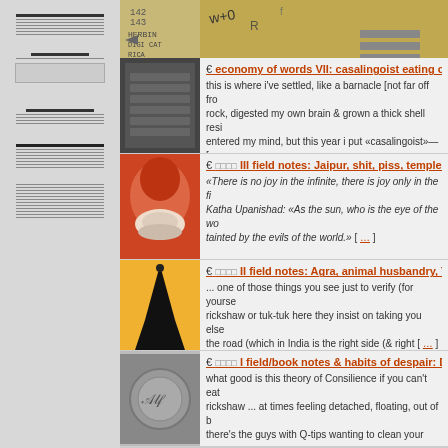[Figure (screenshot): Website/blog listing page with sidebar and content entries showing book/article listings with thumbnails]
€ economy of words VII: casalingoist eating cal...
this is where i've settled, like a barnacle [not far off fr... rock, digested my own brain & grown a thick shell resi... entered my mind, but this year i put «casalingoist»— [
€ □□□□ III field notes: Jaipur, shit, piss, temple m...
«There is no joy in the infinite, there is joy only in the i... Katha Upanishad: «As the sun, who is the eye of the wo... tainted by the evils of the world.» [ … ]
€ □□□□ II field notes: Agra, animal husbandry, Ta...
... one of those things you see just to verify (for yourse... rickshaw or tuk-tuk here they insist on taking you else... the road (which in India is the right side (& right [ …]
€ □□□□ I field/book notes & habits of despair: De...
what good is this theory of Consilience if you can't eat... rickshaw ... at times feeling detached, floating, out of b... there's the guys with Q-tips wanting to clean your ears
€ [5 +1] page excerpt from ARK CODEX 0:1